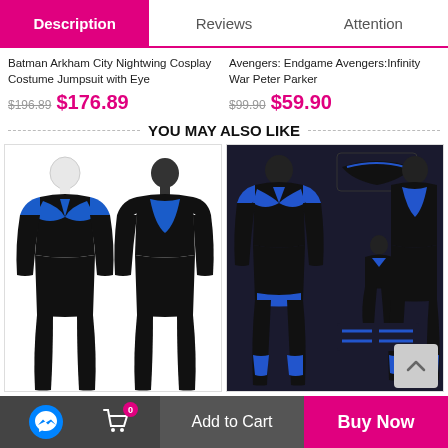Description | Reviews | Attention
Batman Arkham City Nightwing Cosplay Costume Jumpsuit with Eye
$196.89  $176.89
Avengers: Endgame Avengers:Infinity War Peter Parker
$99.90  $59.90
YOU MAY ALSO LIKE
[Figure (photo): Two black and blue Nightwing cosplay costume mannequins, front and back views]
[Figure (photo): Nightwing costume set showing full suit, mask, accessories and multiple views on dark background]
Titans Season 1 Nightwing Dick
Nightwing Costume Batman: Under
Add to Cart  |  Buy Now